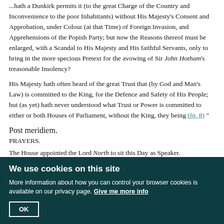... hath a Dunkirk permits it (to the great Charge of the Country and Inconvenience to the poor Inhabitants) without His Majesty's Consent and Approbation, under Colour (at that Time) of Foreign Invasion, and Apprehensions of the Popish Party; but now the Reasons thereof must be enlarged, with a Scandal to His Majesty and His faithful Servants, only to bring in the more specious Pretext for the avowing of Sir John Hotham's treasonable Insolency?
His Majesty hath often heard of the great Trust that (by God and Man's Law) is committed to the King, for the Defence and Safety of His People; but (as yet) hath never understood what Trust or Power is committed to either or both Houses of Parliament, without the King, they being (fn. 8) "
Post meridiem.
PRAYERS.
The House appointed the Lord North to sit this Day as Speaker.
Conisby's Bill.
Ordered, That the Committee for Conisby's Bill shall meet.
We use cookies on this site
More information about how you can control your browser cookies is available on our privacy page. Give me more info